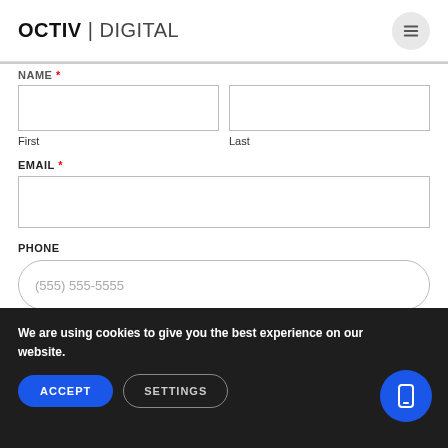OCTIV | DIGITAL
NAME *
First
Last
EMAIL *
PHONE
(555) 555-5555
We are using cookies to give you the best experience on our website.